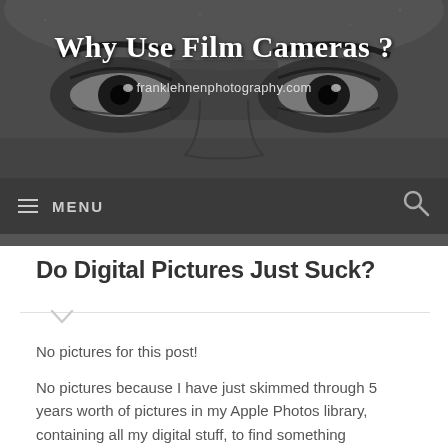[Figure (photo): Close-up black and white photo of a person's eyes and nose bridge, used as website header background]
Why Use Film Cameras ?
franklehnenphotography.com
≡ MENU
Do Digital Pictures Just Suck?
No pictures for this post!
No pictures because I have just skimmed through 5 years worth of pictures in my Apple Photos library, containing all my digital stuff, to find something